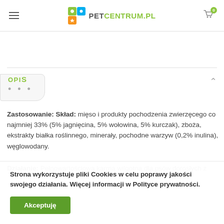PETCENTRUM.PL
OPIS
Zastosowanie: Skład: mięso i produkty pochodzenia zwierzęcego co najmniej 33% (5% jagnięcina, 5% wołowina, 5% kurczak), zboża, ekstrakty białka roślinnego, minerały, pochodne warzyw (0,2% inulina), węglowodany.
Działanie: Pełnowartościowa karma wilgotna dla psów dorosłych z
Strona wykorzystuje pliki Cookies w celu poprawy jakości swojego działania. Więcej informacji w Polityce prywatności.
Akceptuję